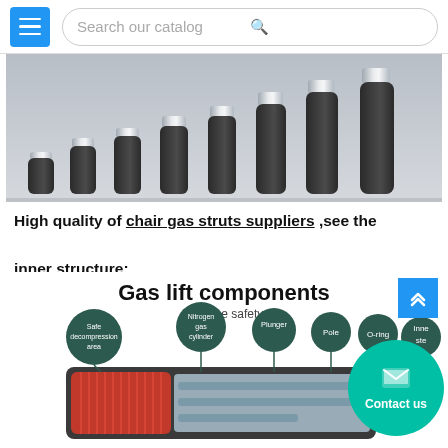Search our catalog
[Figure (photo): Row of black gas struts/chair cylinders of increasing height with silver chrome rods, arranged left to right on a grey background.]
High quality of chair gas struts suppliers ,see the inner structure:
[Figure (infographic): Gas lift components diagram showing cross-section of a gas lift cylinder with labeled parts: Safe decompression area, Nitrogen gas cylinder, Plunger, Pole, O-ring, Inner ste[el]. Title: Gas lift components. Subtitle: Feel the safety.]